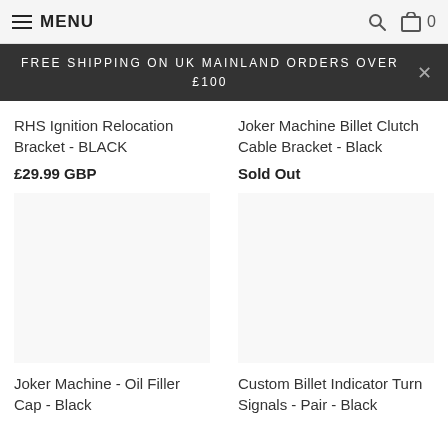MENU
FREE SHIPPING ON UK MAINLAND ORDERS OVER £100
RHS Ignition Relocation Bracket - BLACK
£29.99 GBP
Joker Machine Billet Clutch Cable Bracket - Black
Sold Out
Joker Machine - Oil Filler Cap - Black
Custom Billet Indicator Turn Signals - Pair - Black